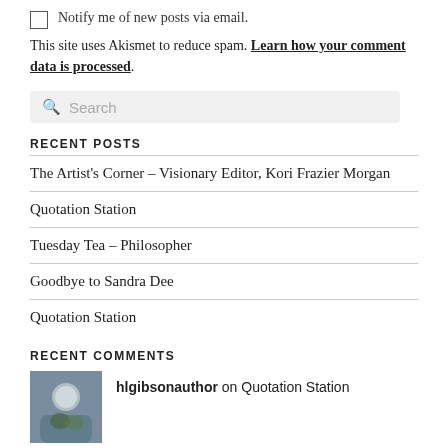Notify me of new posts via email.
This site uses Akismet to reduce spam. Learn how your comment data is processed.
Search
RECENT POSTS
The Artist's Corner – Visionary Editor, Kori Frazier Morgan
Quotation Station
Tuesday Tea – Philosopher
Goodbye to Sandra Dee
Quotation Station
RECENT COMMENTS
hlgibsonauthor on Quotation Station